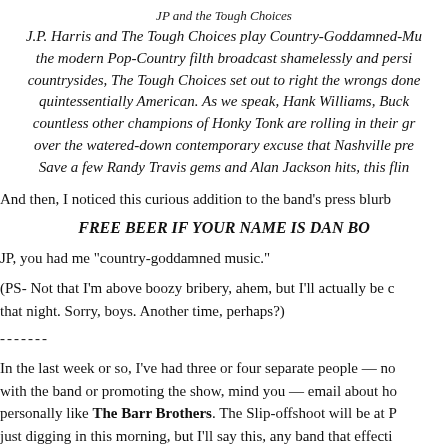JP and the Tough Choices
J.P. Harris and The Tough Choices play Country-Goddamned-Music. Against the modern Pop-Country filth broadcast shamelessly and persistently across our countrysides, The Tough Choices set out to right the wrongs done to something quintessentially American. As we speak, Hank Williams, Buck Owens, and countless other champions of Honky Tonk are rolling in their graves over the watered-down contemporary excuse that Nashville presents as country music. Save a few Randy Travis gems and Alan Jackson hits, this fling...
And then, I noticed this curious addition to the band's press blurb
FREE BEER IF YOUR NAME IS DAN BO
JP, you had me "country-goddamned music."
(PS- Not that I'm above boozy bribery, ahem, but I'll actually be out of town that night. Sorry, boys. Another time, perhaps?)
-------
In the last week or so, I've had three or four separate people — not affiliated with the band or promoting the show, mind you — email about how much they personally like The Barr Brothers. The Slip-offshoot will be at P... just digging in this morning, but I'll say this, any band that effecti...